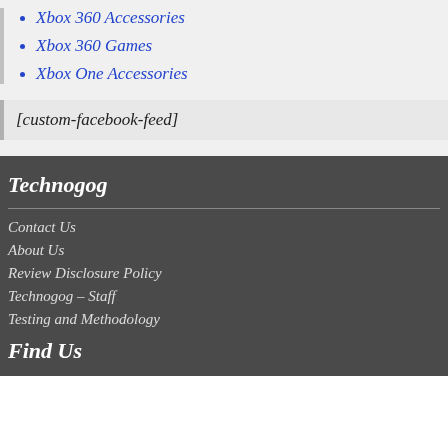Xbox 360 Accessories
Xbox 360 Games
Xbox One Accessories
[custom-facebook-feed]
Technogog
Contact Us
About Us
Review Disclosure Policy
Technogog – Staff
Testing and Methodology
Find Us